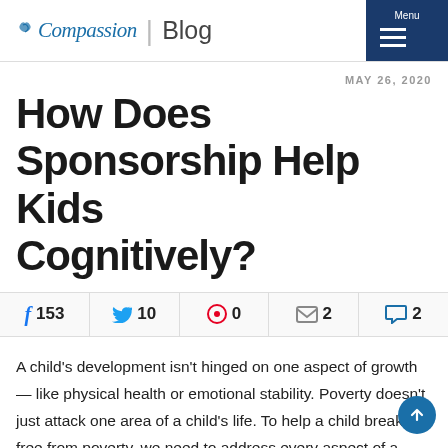Compassion | Blog
MAY 26, 2020
How Does Sponsorship Help Kids Cognitively?
f 153  10  0  2  2
A child's development isn't hinged on one aspect of growth — like physical health or emotional stability. Poverty doesn't just attack one area of a child's life. To help a child break free from poverty, we need to address every aspect of a